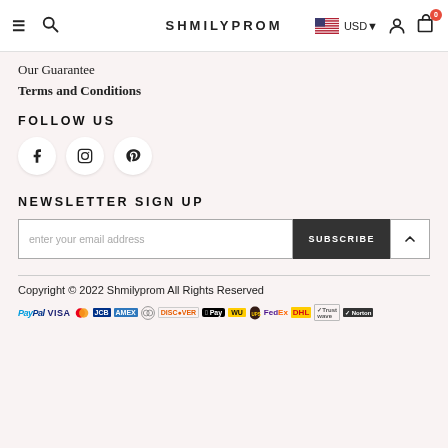SHMILYPROM
Our Guarantee
Terms and Conditions
FOLLOW US
[Figure (infographic): Social media icons: Facebook, Instagram, Pinterest]
NEWSLETTER SIGN UP
[Figure (infographic): Email input field with placeholder 'enter your email address', SUBSCRIBE button, and scroll-to-top arrow button]
Copyright © 2022 Shmilyprom All Rights Reserved
[Figure (infographic): Payment method logos: PayPal, VISA, Mastercard, JCB, American Express, Diners Club, Discover, Apple Pay, Western Union, UPS, FedEx, DHL, Trustwave, Norton]